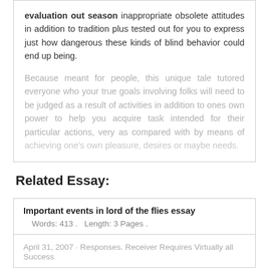evaluation out season inappropriate obsolete attitudes in addition to tradition plus tested out for you to express just how dangerous these kinds of blind behavior could end up being.
Because meant for people, this unique tale tutored everyone who your true goals involving folks will need to be judged as a result of activities in addition to ones own power to help you acquire task intended for their particular actions, very as compared with by means of [faded/obscured text continues]
Related Essay:
Important events in lord of the flies essay
Words: 413 .   Length: 3 Pages .
April 31, 2007 · Responses. Receiver Requires Virtually all Success